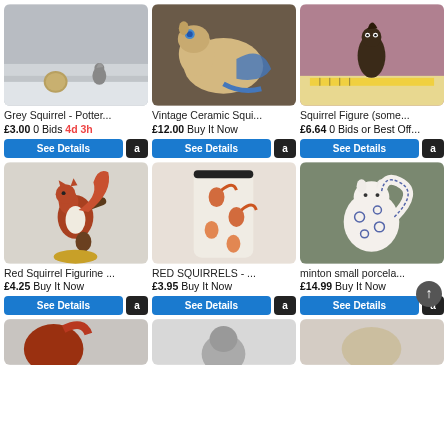[Figure (photo): Grey squirrel pottery figurine next to a coin on a windowsill]
Grey Squirrel - Potter...
£3.00 0 Bids 4d 3h
[Figure (photo): Vintage ceramic squirrel-shaped vase or planter in beige with blue accents]
Vintage Ceramic Squi...
£12.00 Buy It Now
[Figure (photo): Dark bronze squirrel figure with ruler for scale on pink background]
Squirrel Figure (some...
£6.64 0 Bids or Best Off...
[Figure (photo): Red squirrel figurine on a branch with pine cones]
Red Squirrel Figurine ...
£4.25 Buy It Now
[Figure (photo): Cylindrical tin or container with red squirrel print pattern]
RED SQUIRRELS - ...
£3.95 Buy It Now
[Figure (photo): Minton small porcelain white squirrel figurine with blue floral pattern]
minton small porcela...
£14.99 Buy It Now
[Figure (photo): Partial view of red squirrel figurine (bottom row, left)]
[Figure (photo): Partial view of grey squirrel figurine (bottom row, middle)]
[Figure (photo): Partial view of ceramic squirrel item (bottom row, right)]